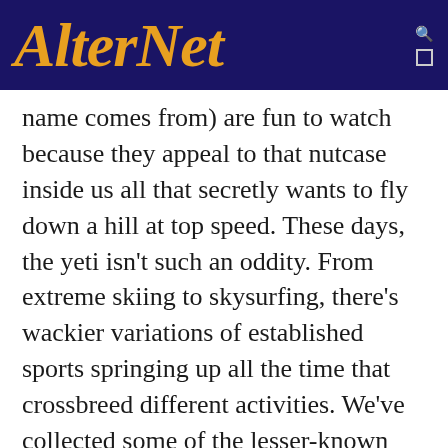AlterNet
name comes from) are fun to watch because they appeal to that nutcase inside us all that secretly wants to fly down a hill at top speed. These days, the yeti isn't such an oddity. From extreme skiing to skysurfing, there's wackier variations of established sports springing up all the time that crossbreed different activities. We've collected some of the lesser-known yeti-type toys, for both summer and winter enjoyment, that might appeal to your wilder side.SLED DOGSThey're not entirely new, but Sled Dogs haven't come close to attaining